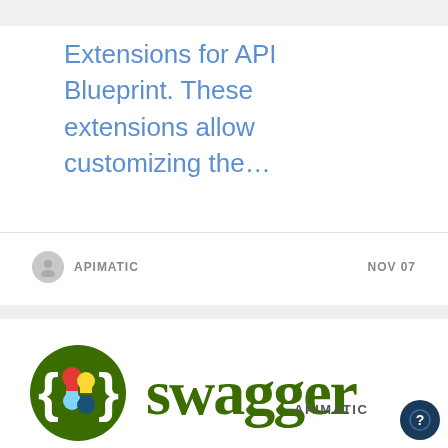Extensions for API Blueprint. These extensions allow customizing the…
APIMATIC · NOV 07
[Figure (logo): Swagger logo: dark green circle with colorful puzzle pieces and curly braces, beside large green 'swagger' text and 'APIMATIC' label]
Swagger 2.0 Extension for Code Generation Settings
Swagger 2.0 spec was created with the foresight of allowing 3rd-party vendors to implement tool-specific extensions. The…